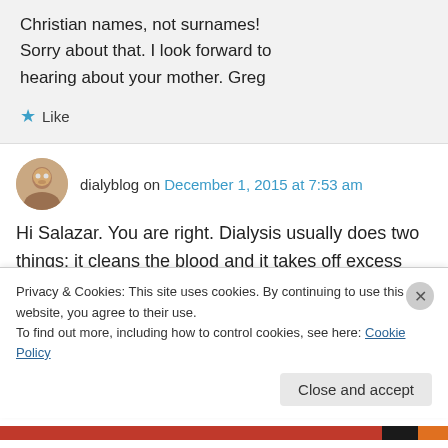Christian names, not surnames! Sorry about that. I look forward to hearing about your mother. Greg
★ Like
dialyblog on December 1, 2015 at 7:53 am
Hi Salazar. You are right. Dialysis usually does two things: it cleans the blood and it takes off excess fluid. Your mother should not be coming
Privacy & Cookies: This site uses cookies. By continuing to use this website, you agree to their use.
To find out more, including how to control cookies, see here: Cookie Policy
Close and accept